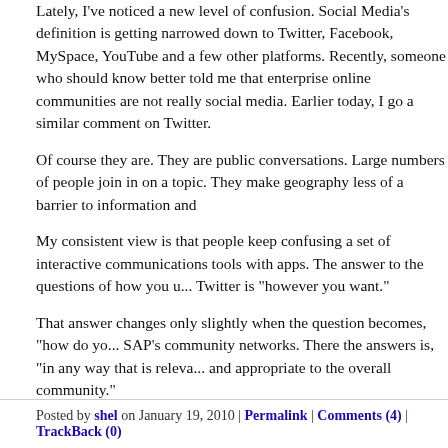Lately, I've noticed a new level of confusion. Social Media's definition is getting narrowed down to Twitter, Facebook, MySpace, YouTube and a few other platforms. Recently, someone who should know better told me that enterprise online communities are not really social media. Earlier today, I go a similar comment on Twitter.
Of course they are. They are public conversations. Large numbers of people join in on a topic. They make geography less of a barrier to information and
My consistent view is that people keep confusing a set of interactive communications tools with apps. The answer to the questions of how you use Twitter is "however you want."
That answer changes only slightly when the question becomes, "how do yo... SAP's community networks. There the answers is, "in any way that is releva... and appropriate to the overall community."
There is so much these days, which gets clouded by layers of complexity. T... way of thinking social media's definition is quite simple and has not changed since it first came into use.
I hope it remains that way.
Posted by shel on January 19, 2010 | Permalink | Comments (4) | TrackBack (0)